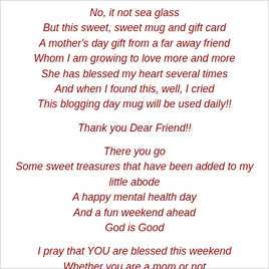No, it not sea glass
But this sweet, sweet mug and gift card
A mother's day gift from a far away friend
Whom I am growing to love more and more
She has blessed my heart several times
And when I found this, well, I cried
This blogging day mug will be used daily!!

Thank you Dear Friend!!

There you go
Some sweet treasures that have been added to my little abode
A happy mental health day
And a fun weekend ahead
God is Good

I pray that YOU are blessed this weekend
Whether you are a mom or not